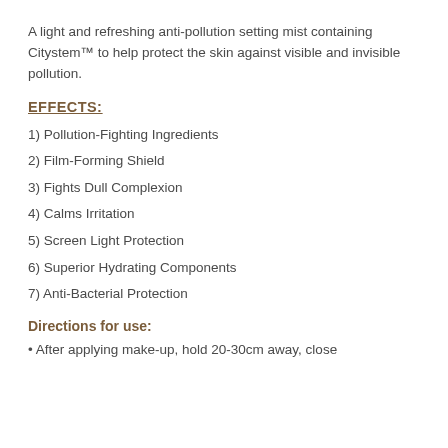A light and refreshing anti-pollution setting mist containing Citystem™ to help protect the skin against visible and invisible pollution.
EFFECTS:
1) Pollution-Fighting Ingredients
2) Film-Forming Shield
3) Fights Dull Complexion
4) Calms Irritation
5) Screen Light Protection
6) Superior Hydrating Components
7) Anti-Bacterial Protection
Directions for use:
• After applying make-up, hold 20-30cm away, close